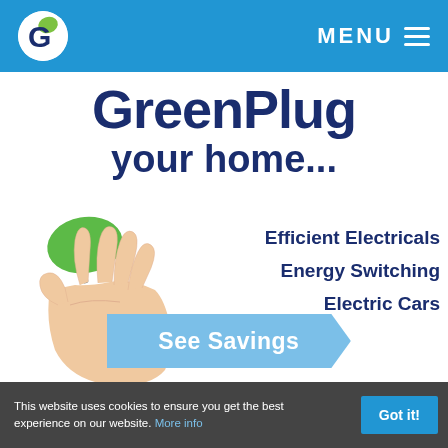GreenPlug — MENU
GreenPlug your home...
[Figure (illustration): A hand holding a green UK electrical plug against a white background]
Efficient Electricals
Energy Switching
Electric Cars
See Savings
This website uses cookies to ensure you get the best experience on our website. More info  Got it!